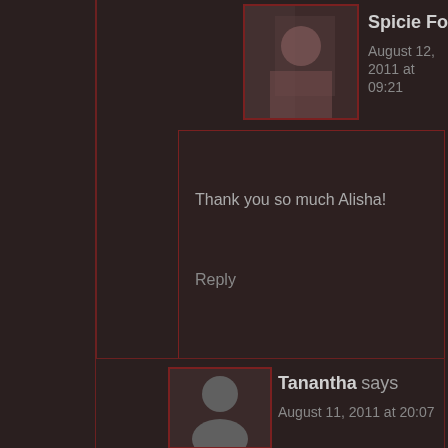Spicie Foodie says
August 12, 2011 at 09:21
Thank you so much Alisha!
Reply
Tanantha says
August 11, 2011 at 20:07